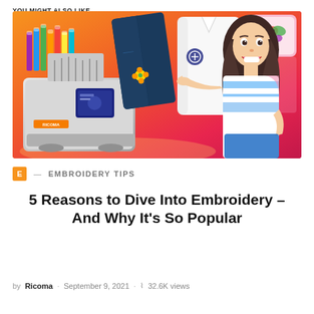YOU MIGHT ALSO LIKE
[Figure (photo): Banner image showing an embroidery machine on the left with colorful thread spools, jeans with an embroidered design, a white polo shirt, a pink decorative pillow with a butterfly, and a smiling young woman in a blue and white striped shirt pointing to the embroidered shirt, against a warm orange-to-pink gradient background.]
E — EMBROIDERY TIPS
5 Reasons to Dive Into Embroidery – And Why It's So Popular
by Ricoma · September 9, 2021 · 32.6K views